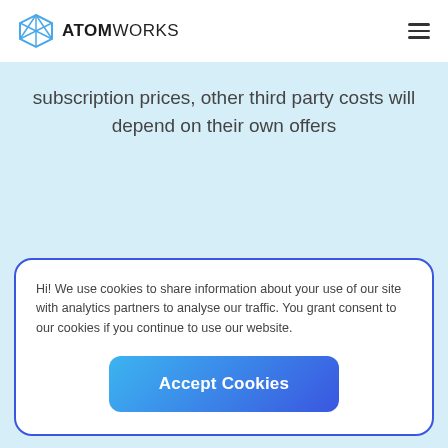ATOMWORKS
subscription prices, other third party costs will depend on their own offers
Hi! We use cookies to share information about your use of our site with analytics partners to analyse our traffic. You grant consent to our cookies if you continue to use our website.
Accept Cookies